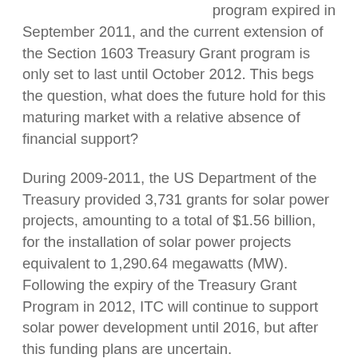program expired in September 2011, and the current extension of the Section 1603 Treasury Grant program is only set to last until October 2012. This begs the question, what does the future hold for this maturing market with a relative absence of financial support?
During 2009-2011, the US Department of the Treasury provided 3,731 grants for solar power projects, amounting to a total of $1.56 billion, for the installation of solar power projects equivalent to 1,290.64 megawatts (MW). Following the expiry of the Treasury Grant Program in 2012, ITC will continue to support solar power development until 2016, but after this funding plans are uncertain.